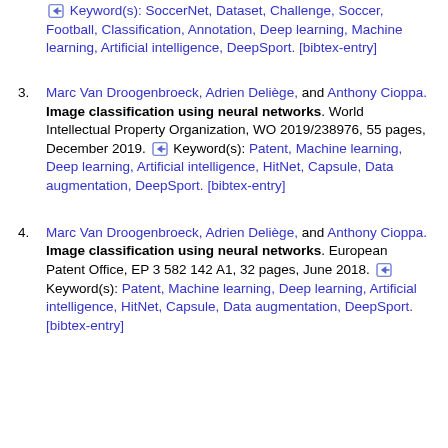(continuation) Keyword(s): SoccerNet, Dataset, Challenge, Soccer, Football, Classification, Annotation, Deep learning, Machine learning, Artificial intelligence, DeepSport. [bibtex-entry]
3. Marc Van Droogenbroeck, Adrien Deliège, and Anthony Cioppa. Image classification using neural networks. World Intellectual Property Organization, WO 2019/238976, 55 pages, December 2019. Keyword(s): Patent, Machine learning, Deep learning, Artificial intelligence, HitNet, Capsule, Data augmentation, DeepSport. [bibtex-entry]
4. Marc Van Droogenbroeck, Adrien Deliège, and Anthony Cioppa. Image classification using neural networks. European Patent Office, EP 3 582 142 A1, 32 pages, June 2018. Keyword(s): Patent, Machine learning, Deep learning, Artificial intelligence, HitNet, Capsule, Data augmentation, DeepSport. [bibtex-entry]